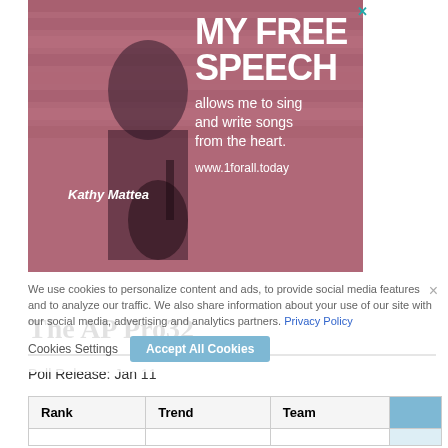[Figure (photo): Advertisement image featuring Kathy Mattea holding a guitar in front of a pink wooden wall. Text reads: MY FREE SPEECH allows me to sing and write songs from the heart. www.1forall.today]
We use cookies to personalize content and ads, to provide social media features and to analyze our traffic. We also share information about your use of our site with our social media, advertising and analytics partners. Privacy Policy
The AP Pro32
Poll Release: Jan 11
| Rank | Trend | Team |
| --- | --- | --- |